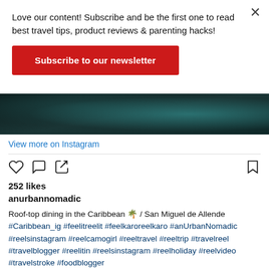Love our content! Subscribe and be the first one to read best travel tips, product reviews & parenting hacks!
Subscribe to our newsletter
[Figure (screenshot): Dark tropical roof-top photo, cropped, showing teal/dark plant leaves overhead]
View more on Instagram
252 likes
anurbannomadic
Roof-top dining in the Caribbean 🌴 / San Miguel de Allende #Caribbean_ig #feelitreelit #feelkaroreelkaro #anUrbanNomadic #reelsinstagram #reelcamogirl #reeltravel #reeltrip #travelreel #travelblogger #reelitin #reelsinstagram #reelholiday #reelvideo #travelstroke #foodblogger #travelblogger #amazingthings #instareelsindia